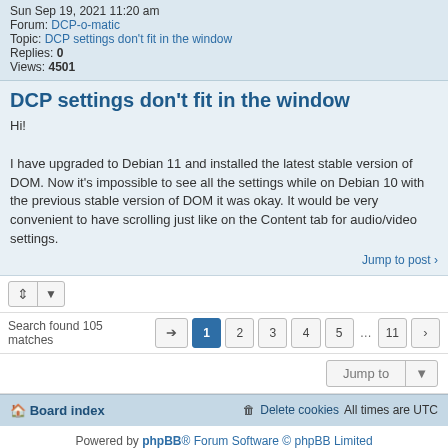Sun Sep 19, 2021 11:20 am
Forum: DCP-o-matic
Topic: DCP settings don't fit in the window
Replies: 0
Views: 4501
DCP settings don't fit in the window
Hi!

I have upgraded to Debian 11 and installed the latest stable version of DOM. Now it's impossible to see all the settings while on Debian 10 with the previous stable version of DOM it was okay. It would be very convenient to have scrolling just like on the Content tab for audio/video settings.
Jump to post ›
Search found 105 matches
Jump to
Board index | Delete cookies | All times are UTC
Powered by phpBB® Forum Software © phpBB Limited
Privacy | Terms